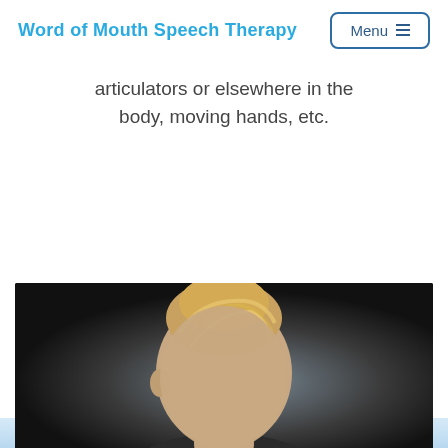Word of Mouth Speech Therapy
articulators or elsewhere in the body, moving hands, etc.
[Figure (photo): Portrait photo of a blonde woman with hair pulled back, against a dark background. Only the top of the head is visible at the bottom of the page.]